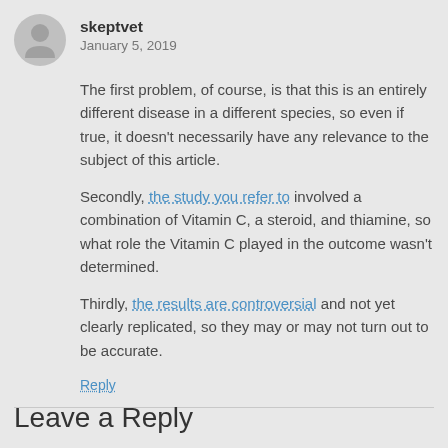skeptvet
January 5, 2019
The first problem, of course, is that this is an entirely different disease in a different species, so even if true, it doesn't necessarily have any relevance to the subject of this article.
Secondly, the study you refer to involved a combination of Vitamin C, a steroid, and thiamine, so what role the Vitamin C played in the outcome wasn't determined.
Thirdly, the results are controversial and not yet clearly replicated, so they may or may not turn out to be accurate.
Reply
Leave a Reply